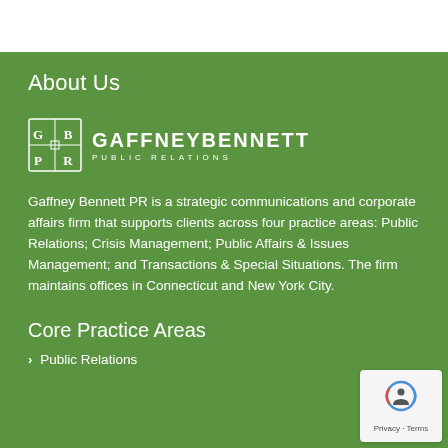About Us
[Figure (logo): GaffneyBennett Public Relations logo — a 2x2 grid icon with letters G, B, P, R followed by the company name in all-caps]
Gaffney Bennett PR is a strategic communications and corporate affairs firm that supports clients across four practice areas: Public Relations; Crisis Management; Public Affairs & Issues Management; and Transactions & Special Situations. The firm maintains offices in Connecticut and New York City.
Core Practice Areas
Public Relations